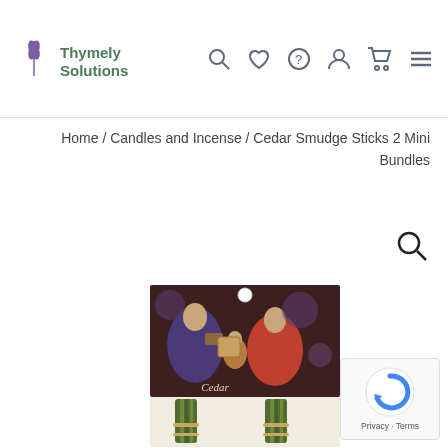Thymely Solutions navigation header with logo and icons
Home / Candles and Incense / Cedar Smudge Sticks 2 Mini Bundles
[Figure (screenshot): Search magnifier icon floating on the right side of the page]
[Figure (photo): Cedar Smudge Sticks product image showing packaging with Indian art figures and two mini bundles of cedar tied with twine]
[Figure (other): Google reCAPTCHA badge in the bottom right corner showing the reCAPTCHA logo and Privacy - Terms text]